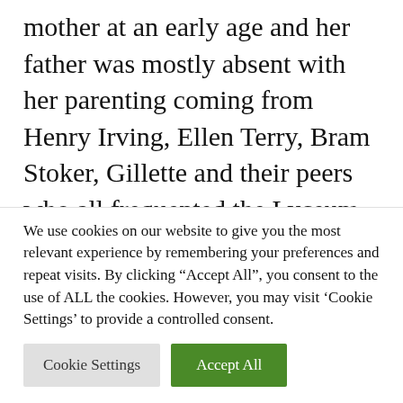mother at an early age and her father was mostly absent with her parenting coming from Henry Irving, Ellen Terry, Bram Stoker, Gillette and their peers who all frequented the Lyceum theatre which she had connections to. Gillette is said to have been family & was well known in the acting field. Gillette is accredited with the accoutrements we now associate with Sherlock Holmes as he played Holmes in a play.
We use cookies on our website to give you the most relevant experience by remembering your preferences and repeat visits. By clicking “Accept All”, you consent to the use of ALL the cookies. However, you may visit 'Cookie Settings' to provide a controlled consent.